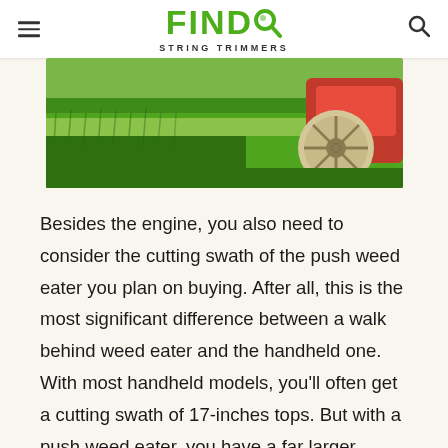FIND STRING TRIMMERS
[Figure (photo): A lawn mower with a large cream-colored wheel on green grass, cutting a swath of lawn. Red body of mower visible on the right.]
Besides the engine, you also need to consider the cutting swath of the push weed eater you plan on buying. After all, this is the most significant difference between a walk behind weed eater and the handheld one. With most handheld models, you'll often get a cutting swath of 17-inches tops. But with a push weed eater, you have a far larger cutting diameter as some units will have cutting swaths of up to 22 inches! This makes a walk-behind trimmer the perfect addition to your arsenal, especially if you have a large